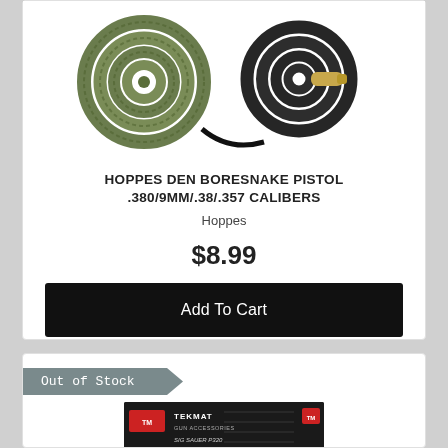[Figure (photo): Hoppes BoreSnake product image showing two coiled cleaning ropes — one olive/green braided and one black coiled with a brass tip]
HOPPES DEN BORESNAKE PISTOL .380/9MM/.38/.357 CALIBERS
Hoppes
$8.99
Add To Cart
Out of Stock
[Figure (photo): TekMat Gun Accessories mat for Sig Sauer P320, black mat with white line drawing of firearm components]